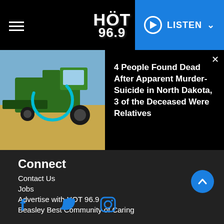HOT 96.9 — LISTEN
[Figure (screenshot): Green combine harvester in a field, with a circular loading spinner overlay]
4 People Found Dead After Apparent Murder-Suicide in North Dakota, 3 of the Deceased Were Relatives
Connect
Contact Us
Jobs
Advertise with HOT 96.9
Beasley Best Community of Caring
[Figure (illustration): Social media icons: Facebook, Twitter, Instagram in blue]